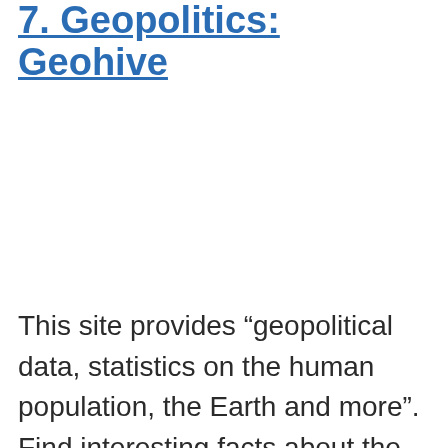7. Geopolitics: Geohive
This site provides “geopolitical data, statistics on the human population, the Earth and more”. Find interesting facts about the countries of the world, such as the largest cities, the largest